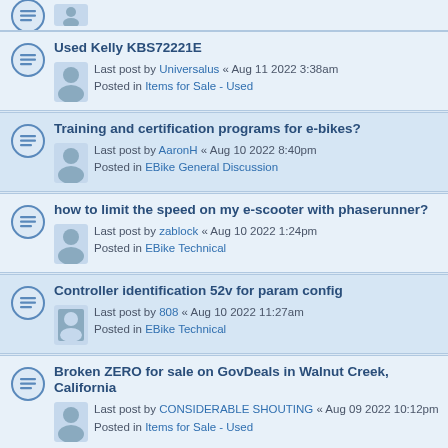Used Kelly KBS72221E
Last post by Universalus « Aug 11 2022 3:38am
Posted in Items for Sale - Used
Training and certification programs for e-bikes?
Last post by AaronH « Aug 10 2022 8:40pm
Posted in EBike General Discussion
how to limit the speed on my e-scooter with phaserunner?
Last post by zablock « Aug 10 2022 1:24pm
Posted in EBike Technical
Controller identification 52v for param config
Last post by 808 « Aug 10 2022 11:27am
Posted in EBike Technical
Broken ZERO for sale on GovDeals in Walnut Creek, California
Last post by CONSIDERABLE SHOUTING « Aug 09 2022 10:12pm
Posted in Items for Sale - Used
ME1507 with Sevcon Gen4 Size 6 80V
Last post by JTR « Aug 08 2022 10:00pm
Posted in Items for Sale - Used
BUY Honda 40 with Sevcon Gen4 Size 6 80V (partial)